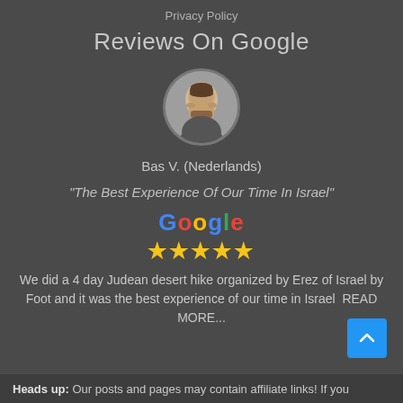Privacy Policy
Reviews On Google
[Figure (photo): Circular avatar photo of a man with a beard]
Bas V. (Nederlands)
"The Best Experience Of Our Time In Israel"
[Figure (logo): Google logo in multicolor followed by 5 gold stars rating]
We did a 4 day Judean desert hike organized by Erez of Israel by Foot and it was the best experience of our time in Israel  READ MORE...
Heads up: Our posts and pages may contain affiliate links! If you